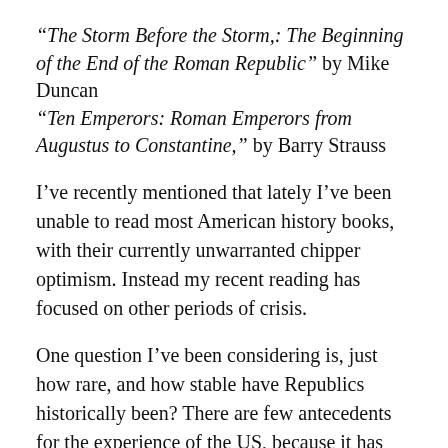“The Storm Before the Storm,: The Beginning of the End of the Roman Republic” by Mike Duncan “Ten Emperors: Roman Emperors from Augustus to Constantine,” by Barry Strauss
I’ve recently mentioned that lately I’ve been unable to read most American history books, with their currently unwarranted chipper optimism. Instead my recent reading has focused on other periods of crisis.
One question I’ve been considering is, just how rare, and how stable have Republics historically been? There are few antecedents for the experience of the US, because it has aspires to both be a Republic under the rule of law and simultaneously a